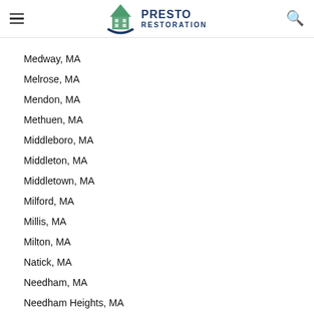Presto Restoration
Medway, MA
Melrose, MA
Mendon, MA
Methuen, MA
Middleboro, MA
Middleton, MA
Middletown, MA
Milford, MA
Millis, MA
Milton, MA
Natick, MA
Needham, MA
Needham Heights, MA